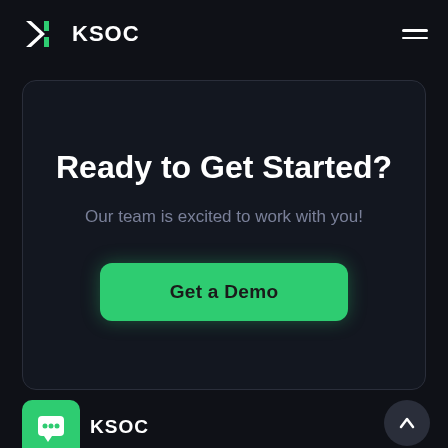KSOC
Ready to Get Started?
Our team is excited to work with you!
Get a Demo
[Figure (logo): KSOC logo with chat icon and company name at the bottom]
KSOC